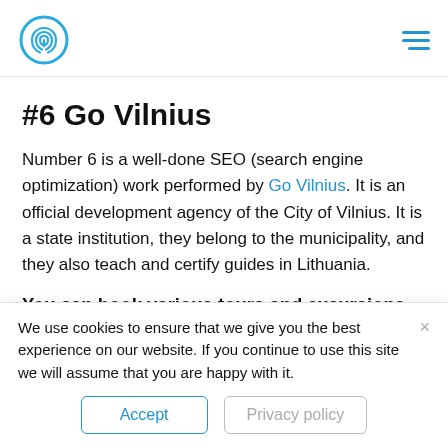[logo] [hamburger menu]
#6 Go Vilnius
Number 6 is a well-done SEO (search engine optimization) work performed by Go Vilnius. It is an official development agency of the City of Vilnius. It is a state institution, they belong to the municipality, and they also teach and certify guides in Lithuania.
You can book various tours and excursions
We use cookies to ensure that we give you the best experience on our website. If you continue to use this site we will assume that you are happy with it.